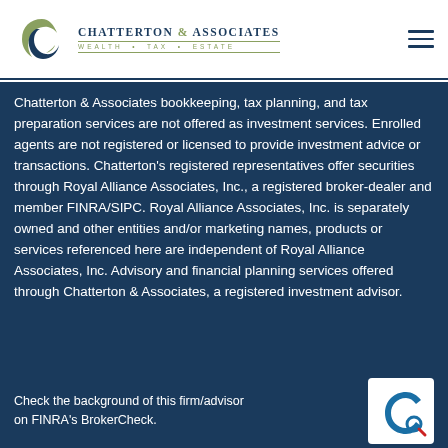Chatterton & Associates Wealth · Tax · Estate
Chatterton & Associates bookkeeping, tax planning, and tax preparation services are not offered as investment services. Enrolled agents are not registered or licensed to provide investment advice or transactions. Chatterton's registered representatives offer securities through Royal Alliance Associates, Inc., a registered broker-dealer and member FINRA/SIPC. Royal Alliance Associates, Inc. is separately owned and other entities and/or marketing names, products or services referenced here are independent of Royal Alliance Associates, Inc. Advisory and financial planning services offered through Chatterton & Associates, a registered investment advisor.
Check the background of this firm/advisor on FINRA's BrokerCheck.
[Figure (logo): FINRA BrokerCheck logo - blue C with magnifying glass]